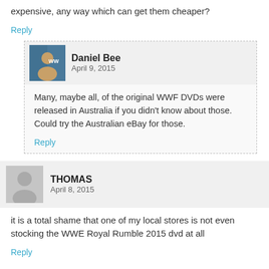expensive, any way which can get them cheaper?
Reply
Daniel Bee
April 9, 2015
Many, maybe all, of the original WWF DVDs were released in Australia if you didn't know about those. Could try the Australian eBay for those.
Reply
THOMAS
April 8, 2015
it is a total shame that one of my local stores is not even stocking the WWE Royal Rumble 2015 dvd at all
Reply